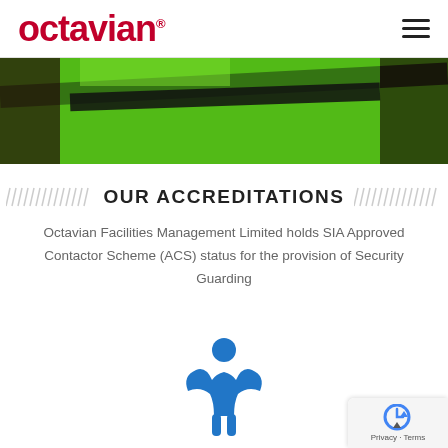octavian
[Figure (photo): A close-up photo of a person wearing a bright green and black high-visibility jacket or vest, partially cropped.]
OUR ACCREDITATIONS
Octavian Facilities Management Limited holds SIA Approved Contactor Scheme (ACS) status for the provision of Security Guarding
[Figure (logo): SIA (Security Industry Authority) logo — blue stylized figure/crown shape with letters 'sia' below]